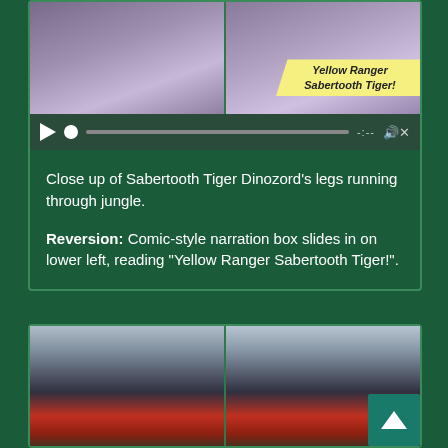[Figure (screenshot): Two side-by-side video frames showing Sabertooth Tiger Dinozord scene. Right frame has a yellow comic-style narration box reading 'Yellow Ranger Sabertooth Tiger!']
[Figure (screenshot): Video player controls bar with play button, progress dot, progress bar, time display '-:--', and volume icon]
Close up of Sabertooth Tiger Dinozord's legs running through jungle.
Reversion: Comic-style narration box slides in on lower left, reading “Yellow Ranger Sabertooth Tiger!”.
[Figure (screenshot): Two side-by-side video frames showing a volcano or mountain with red glowing eruption/fire at the base, against a grey sky]